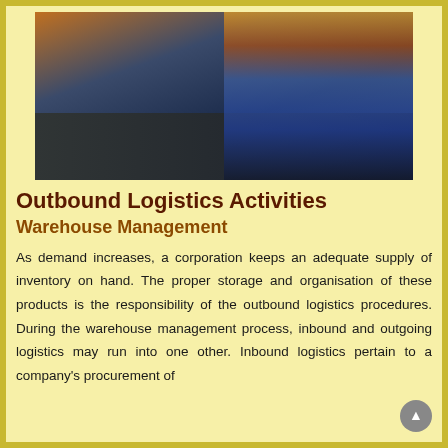[Figure (photo): A large semi-truck/lorry on a highway with shipping containers stacked in the background and a crane visible, set against a dramatic sky. The image has dark blue and orange tones.]
Outbound Logistics Activities
Warehouse Management
As demand increases, a corporation keeps an adequate supply of inventory on hand. The proper storage and organisation of these products is the responsibility of the outbound logistics procedures. During the warehouse management process, inbound and outgoing logistics may run into one other. Inbound logistics pertain to a company's procurement of